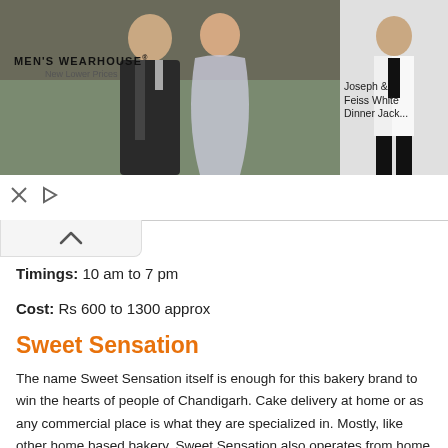[Figure (screenshot): Men's Wearhouse advertisement banner with logo on left, couple photo in center-left, and a man in white dinner jacket on right with text 'Joseph & Feiss White Dinner Jack...']
[Figure (infographic): Navigation tab/chevron area with an up arrow (chevron) indicating collapsed section]
Timings: 10 am to 7 pm
Cost: Rs 600 to 1300 approx
Sweet Sensation
The name Sweet Sensation itself is enough for this bakery brand to win the hearts of people of Chandigarh. Cake delivery at home or as any commercial place is what they are specialized in. Mostly, like other home based bakery, Sweet Sensation also operates from home and is loved for their bakery goods. It is recommended to pre-ordering cakes for delivery anywhere in Chandigarh. And the good news is they